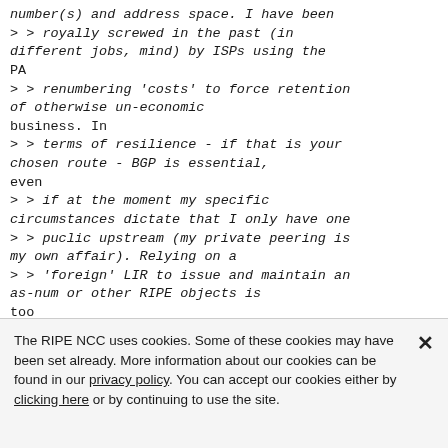number(s) and address space. I have been
> > royally screwed in the past (in
different jobs, mind) by ISPs using the PA
> > renumbering 'costs' to force retention
of otherwise un-economic
business. In
> > terms of resilience - if that is your
chosen route - BGP is essential,
even
> > if at the moment my specific
circumstances dictate that I only have one
> > puclic upstream (my private peering is
my own affair). Relying on a
> > 'foreign' LIR to issue and maintain an
as-num or other RIPE objects is
too
> > risky.
> >
The RIPE NCC uses cookies. Some of these cookies may have been set already. More information about our cookies can be found in our privacy policy. You can accept our cookies either by clicking here or by continuing to use the site.